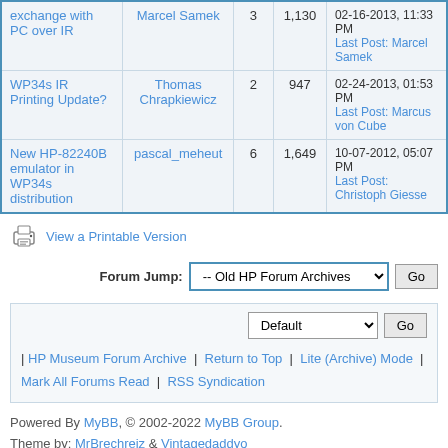| Topic | Author | Replies | Views | Last Post |
| --- | --- | --- | --- | --- |
| exchange with PC over IR | Marcel Samek | 3 | 1,130 | 02-16-2013, 11:33 PM
Last Post: Marcel Samek |
| WP34s IR Printing Update? | Thomas Chrapkiewicz | 2 | 947 | 02-24-2013, 01:53 PM
Last Post: Marcus von Cube |
| New HP-82240B emulator in WP34s distribution | pascal_meheut | 6 | 1,649 | 10-07-2012, 05:07 PM
Last Post: Christoph Giesse |
View a Printable Version
Forum Jump: -- Old HP Forum Archives  Go
Default  Go
| HP Museum Forum Archive | Return to Top | Lite (Archive) Mode | Mark All Forums Read | RSS Syndication
Powered By MyBB, © 2002-2022 MyBB Group. Theme by: MrBrechreiz & Vintagedaddyo